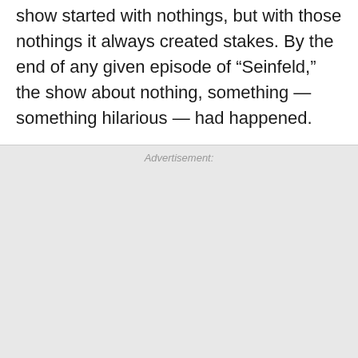show started with nothings, but with those nothings it always created stakes. By the end of any given episode of “Seinfeld,” the show about nothing, something — something hilarious — had happened.
Advertisement:
[Figure (other): Advertisement placeholder area with light gray background, a red close button (X) in the bottom-right corner, and a Lidl ad banner at the bottom showing the Lidl logo, text 'Lidl: More Food for Less Money' and 'Lidl', with navigation arrows and a blue map/directions icon.]